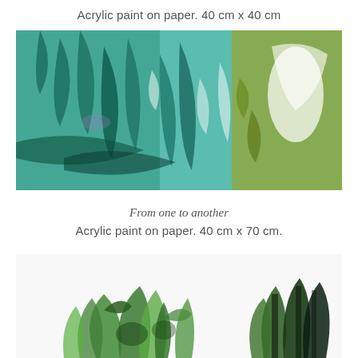Acrylic paint on paper. 40 cm x 40 cm
[Figure (photo): Painting of layered translucent green and teal plant forms on paper, featuring leaf shapes in teal/cyan and olive green tones with white negative spaces]
From one to another
Acrylic paint on paper. 40 cm x 70 cm.
[Figure (photo): Partial view of another acrylic painting showing green leaf and plant forms, including monstera-like leaves in deep green and black tones on white background]